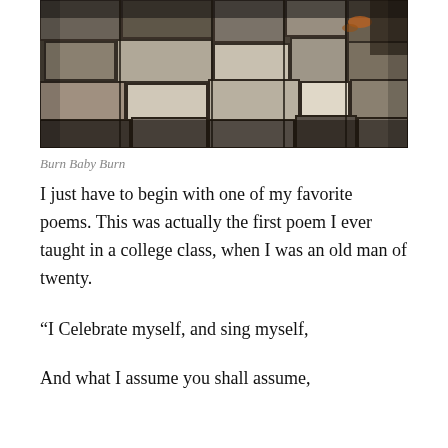[Figure (photo): Outdoor photograph of old stone or brick blocks/pavers arranged in a patchwork pattern, with debris and leaves visible between them.]
Burn Baby Burn
I just have to begin with one of my favorite poems. This was actually the first poem I ever taught in a college class, when I was an old man of twenty.
“I Celebrate myself, and sing myself,
And what I assume you shall assume,
For every atom belonging to me as good belongs to you.”